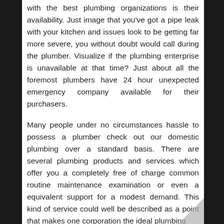with the best plumbing organizations is their availability. Just image that you've got a pipe leak with your kitchen and issues look to be getting far more severe, you without doubt would call during the plumber. Visualize if the plumbing enterprise is unavailable at that time? Just about all the foremost plumbers have 24 hour unexpected emergency company available for their purchasers.
Many people under no circumstances hassle to possess a plumber check out our domestic plumbing over a standard basis. There are several plumbing products and services which offer you a completely free of charge common routine maintenance examination or even a equivalent support for a modest demand. This kind of service could well be described as a point that makes one corporation the ideal plumbing